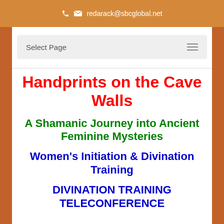redarack@sbcglobal.net
Select Page
Handprints on the Cave Walls
A Shamanic Journey into Ancient Feminine Mysteries
Women's Initiation & Divination Training
DIVINATION TRAINING TELECONFERENCE